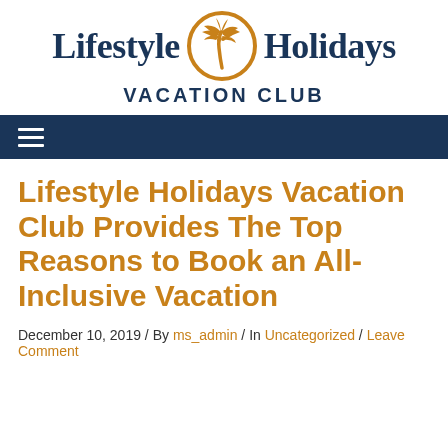[Figure (logo): Lifestyle Holidays Vacation Club logo with palm tree in orange circle and dark navy text]
≡ (navigation menu bar)
Lifestyle Holidays Vacation Club Provides The Top Reasons to Book an All-Inclusive Vacation
December 10, 2019 / By ms_admin / In Uncategorized / Leave Comment